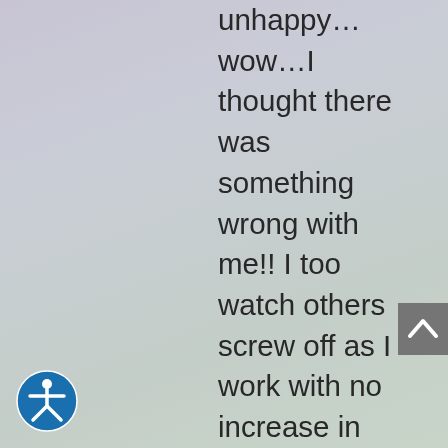unhappy…wow…I thought there was something wrong with me!! I too watch others screw off as I work with no increase in pay in 3 yrs, but need my paycheck because im raising my granddaughters, husband lost his retirement due to poor money
[Figure (other): Gray scroll-to-top button with upward chevron arrow]
[Figure (other): Blue circle accessibility icon button (wheelchair symbol)]